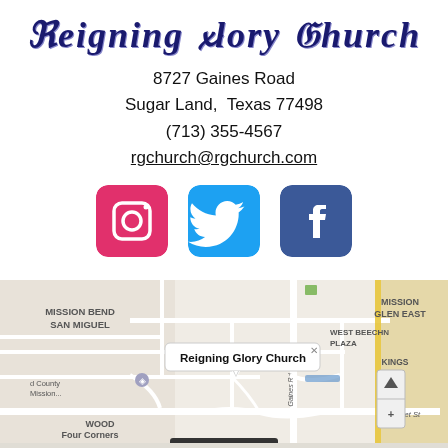Reigning Glory Church
8727 Gaines Road
Sugar Land, Texas 77498
(713) 355-4567
rgchurch@rgchurch.com
[Figure (infographic): Three social media icons: Instagram (pink/red), Twitter (blue), Facebook (dark blue)]
[Figure (map): Google Maps screenshot showing location of Reigning Glory Church on Gaines Road near Bissonnet St in Sugar Land/Mission Bend area. Map shows neighborhoods: Mission Bend San Miguel, Mission Glen East, West Beechnut Plaza, Kings Place, Kingsbridge Place, Four Corners. Callout bubble reads 'Reigning Glory Church'.]